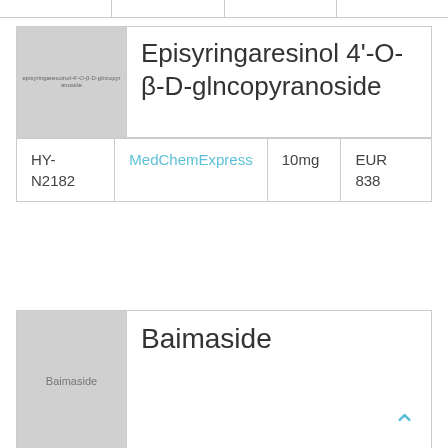[Figure (other): Partial table row at top of page, cut off]
[Figure (photo): Gray placeholder image for Episyringaresinol 4'-O-β-D-glncopyranoside with label text]
Episyringaresinol 4'-O-β-D-glncopyranoside
| ID | Vendor | Qty | Price |
| --- | --- | --- | --- |
| HY-N2182 | MedChemExpress | 10mg | EUR 838 |
[Figure (photo): Gray placeholder image for Baimaside with label text]
Baimaside